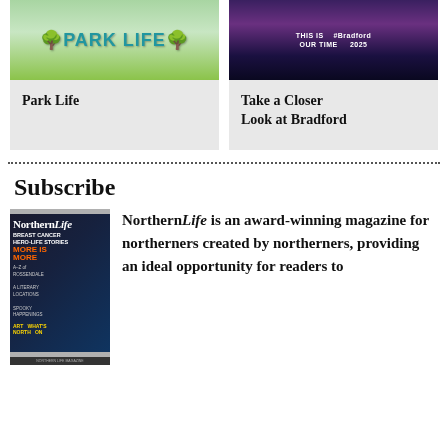[Figure (photo): Park Life magazine cover or illustration showing trees and colourful park scene with 'PARK LIFE' text]
Park Life
[Figure (photo): Bradford 2025 promotional image showing illuminated building at night with text 'THIS IS OUR TIME #Bradford 2025']
Take a Closer Look at Bradford
Subscribe
[Figure (photo): Northern Life magazine cover featuring a woman in colourful costume, headlines about breast cancer, A-Z of Rossendale, literary locations, spooky happenings, art of the north, MORE IS MORE]
NorthernLife is an award-winning magazine for northerners created by northerners, providing an ideal opportunity for readers to